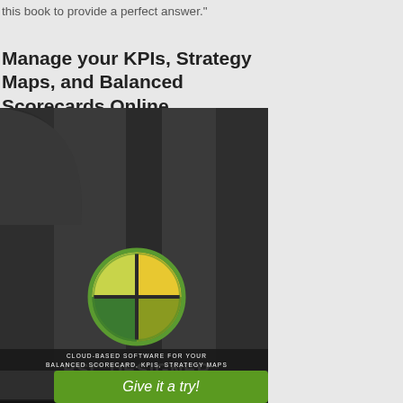this book to provide a perfect answer."
Manage your KPIs, Strategy Maps, and Balanced Scorecards Online
[Figure (illustration): BSC Designer advertisement banner by Kitonik S.R.O. Dark background with a circular logo divided into four quadrants (green, yellow, dark segments), text 'BSC DESIGNER BY KITONIK S. R. O.' and 'CLOUD-BASED SOFTWARE FOR YOUR BALANCED SCORECARD, KPIS, STRATEGY MAPS', with a green 'Give it a try!' button at the bottom.]